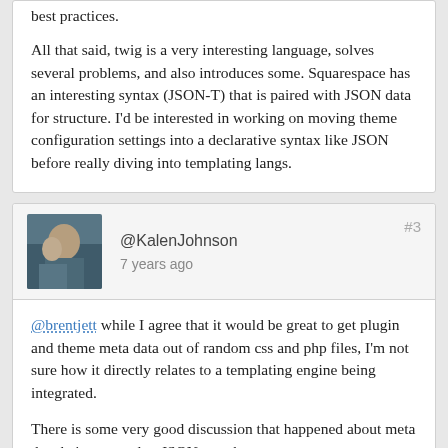best practices. All that said, twig is a very interesting language, solves several problems, and also introduces some. Squarespace has an interesting syntax (JSON-T) that is paired with JSON data for structure. I'd be interested in working on moving theme configuration settings into a declarative syntax like JSON before really diving into templating langs.
@KalenJohnson
7 years ago
#3
@brentjett while I agree that it would be great to get plugin and theme meta data out of random css and php files, I'm not sure how it directly relates to a templating engine being integrated.
There is some very good discussion that happened about meta data being moved to JSON over here: https://core.trac.wordpress.org/ticket/24152